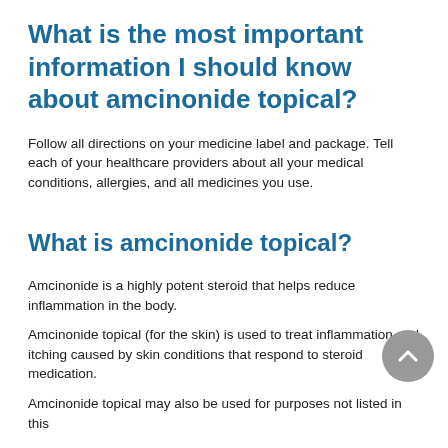What is the most important information I should know about amcinonide topical?
Follow all directions on your medicine label and package. Tell each of your healthcare providers about all your medical conditions, allergies, and all medicines you use.
What is amcinonide topical?
Amcinonide is a highly potent steroid that helps reduce inflammation in the body.
Amcinonide topical (for the skin) is used to treat inflammation and itching caused by skin conditions that respond to steroid medication.
Amcinonide topical may also be used for purposes not listed in this